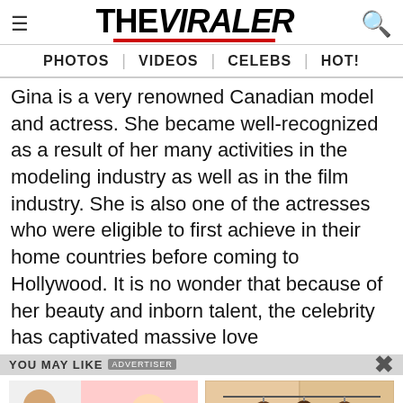THE VIRALER
PHOTOS | VIDEOS | CELEBS | HOT!
Gina is a very renowned Canadian model and actress. She became well-recognized as a result of her many activities in the modeling industry as well as in the film industry. She is also one of the actresses who were eligible to first achieve in their home countries before coming to Hollywood. It is no wonder that because of her beauty and inborn talent, the celebrity has captivated massive love
YOU MAY LIKE   ADVERTISER   X
[Figure (photo): Photo of a man in white coat next to an illustration of a couple, associated with ad: Sex Lasts More Than 3 Hours Without Viagra! Write Down The Recipe]
Sex Lasts More Than 3 Hours Without Viagra! Write Down The Recipe
[Figure (photo): Photo of smoked meats hanging on a line, associated with ad: Diabetes Is Not From Sweets! Meet The Main Enemy Of Diabetes]
Diabetes Is Not From Sweets! Meet The Main Enemy Of Diabetes